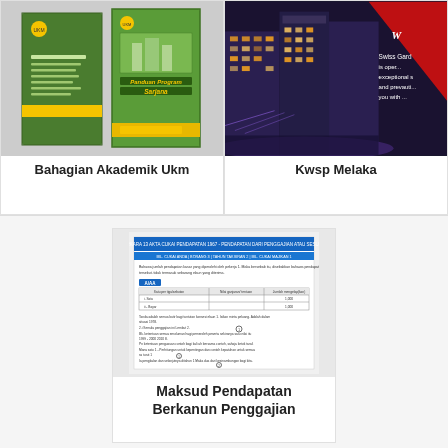[Figure (illustration): Two green book covers - Panduan Program Sarjana from Bahagian Akademik UKM]
Bahagian Akademik Ukm
[Figure (photo): Hotel building at night with Swiss Garden branding and red graphic overlay]
Kwsp Melaka
[Figure (screenshot): Document page showing Maksud Pendapatan Berkanun Penggajian with form/table content]
Maksud Pendapatan Berkanun Penggajian